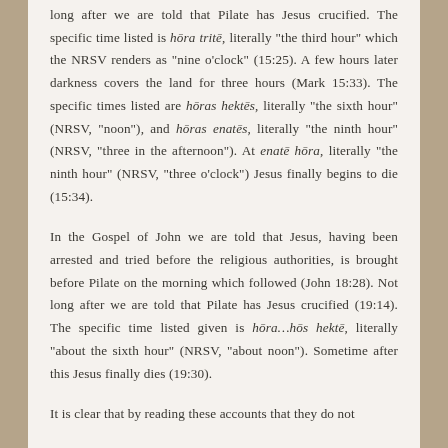long after we are told that Pilate has Jesus crucified. The specific time listed is hōra tritē, literally "the third hour" which the NRSV renders as "nine o'clock" (15:25). A few hours later darkness covers the land for three hours (Mark 15:33). The specific times listed are hōras hektēs, literally "the sixth hour" (NRSV, "noon"), and hōras enatēs, literally "the ninth hour" (NRSV, "three in the afternoon"). At enatē hōra, literally "the ninth hour" (NRSV, "three o'clock") Jesus finally begins to die (15:34).
In the Gospel of John we are told that Jesus, having been arrested and tried before the religious authorities, is brought before Pilate on the morning which followed (John 18:28). Not long after we are told that Pilate has Jesus crucified (19:14). The specific time listed given is hōra…hōs hektē, literally "about the sixth hour" (NRSV, "about noon"). Sometime after this Jesus finally dies (19:30).
It is clear that by reading these accounts that they do not